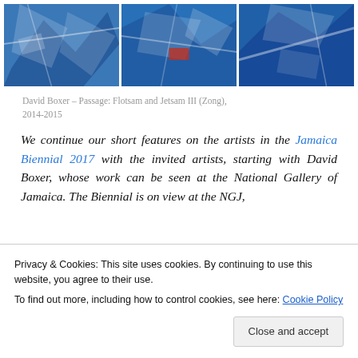[Figure (photo): Three abstract paintings side by side, all featuring blue and white tones with collage-like fragmented compositions. Part of David Boxer's 'Passage: Flotsam and Jetsam III (Zong)' triptych.]
David Boxer – Passage: Flotsam and Jetsam III (Zong), 2014-2015
We continue our short features on the artists in the Jamaica Biennial 2017 with the invited artists, starting with David Boxer, whose work can be seen at the National Gallery of Jamaica. The Biennial is on view at the NGJ,
Between 1975-1991 he was the Director/Curator of the
Privacy & Cookies: This site uses cookies. By continuing to use this website, you agree to their use.
To find out more, including how to control cookies, see here: Cookie Policy
Close and accept